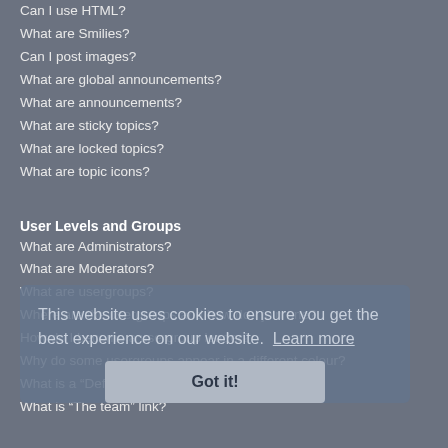Can I use HTML?
What are Smilies?
Can I post images?
What are global announcements?
What are announcements?
What are sticky topics?
What are locked topics?
What are topic icons?
User Levels and Groups
What are Administrators?
What are Moderators?
What are usergroups?
Where are the usergroups and how do I join one?
How do I become a usergroup leader?
Why do some usergroups appear in a different colour?
What is a “Default usergroup”?
What is “The team” link?
Private Messaging
I cannot send private messages!
I keep getting unwanted private messages!
I have received a spamming or abusive email from someone on this board!
Friends and Foes
What are my Friends and Foes lists?
How can I add / remove users to my Friends or Foes list?
This website uses cookies to ensure you get the best experience on our website. Learn more
Got it!